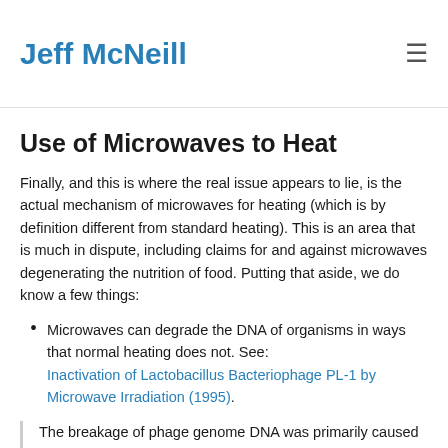Jeff McNeill
Use of Microwaves to Heat
Finally, and this is where the real issue appears to lie, is the actual mechanism of microwaves for heating (which is by definition different from standard heating). This is an area that is much in dispute, including claims for and against microwaves degenerating the nutrition of food. Putting that aside, we do know a few things:
Microwaves can degrade the DNA of organisms in ways that normal heating does not. See: Inactivation of Lactobacillus Bacteriophage PL-1 by Microwave Irradiation (1995).
The breakage of phage genome DNA was primarily caused by the heat generated by microwave irradiation, whereas the phage DNA was not affected by the same temperature